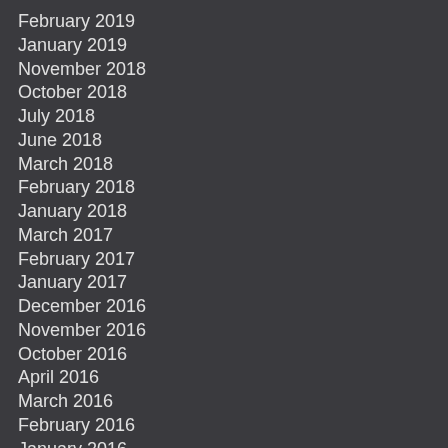February 2019
January 2019
November 2018
October 2018
July 2018
June 2018
March 2018
February 2018
January 2018
March 2017
February 2017
January 2017
December 2016
November 2016
October 2016
April 2016
March 2016
February 2016
January 2016
December 2015